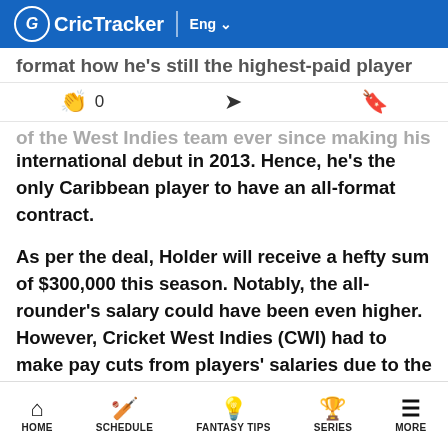CricTracker | Eng
format how he's still the highest-paid player in the
of the West Indies team ever since making his international debut in 2013. Hence, he's the only Caribbean player to have an all-format contract.
As per the deal, Holder will receive a hefty sum of $300,000 this season. Notably, the all-rounder's salary could have been even higher. However, Cricket West Indies (CWI) had to make pay cuts from players' salaries due to the COVID-19 crisis.
Meanwhile, the ongoing year is quite significant for West Indies and Holder has a role to play. Under Kieron Pollard's leadership, the Men in Maroon will step into the T20 World Cup as defending champions and would be
HOME  SCHEDULE  FANTASY TIPS  SERIES  MORE